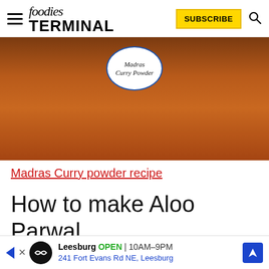foodies TERMINAL — SUBSCRIBE
[Figure (photo): A glass jar filled with orange-red Madras Curry Powder, with a white circular label handwritten in italic font reading 'Madras Curry Powder', placed on a dark surface.]
Madras Curry powder recipe
How to make Aloo Parwal in Instant Pot?
[Figure (other): Advertisement bar: Leesburg OPEN 10AM-9PM, 241 Fort Evans Rd NE, Leesburg, with navigation icon.]